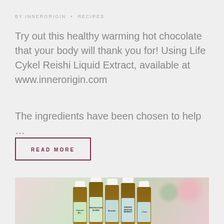BY INNERORIGIN • RECIPES
Try out this healthy warming hot chocolate that your body will thank you for! Using Life Cykel Reishi Liquid Extract, available at www.innerorigin.com
The ingredients have been chosen to help …
READ MORE
[Figure (photo): Five amber glass essential oil bottles with white caps displayed side by side — Lively Living Immune Boost, Lively Living Protection Blend, Lively Living Breathe, Lively Living Winter Rescue Remedy, and a fifth bottle partially visible — on a soft blurred pink and green floral background. Overlay text reads '2 YEARS AGO' with a bookmark icon.]